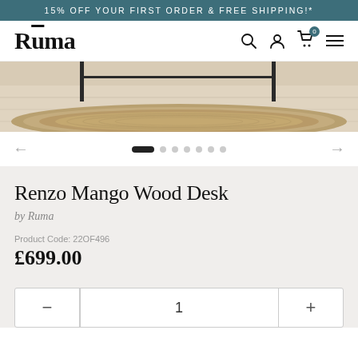15% OFF YOUR FIRST ORDER & FREE SHIPPING!*
Rūma
[Figure (photo): Product lifestyle photo showing a woven jute/seagrass rug on a light wooden floor with a dark metal desk frame visible at the top.]
Renzo Mango Wood Desk
by Ruma
Product Code: 22OF496
£699.00